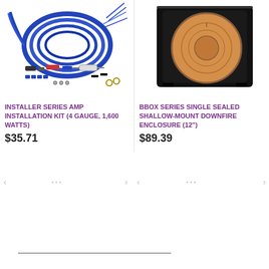[Figure (photo): Installer Series Amp Installation Kit with blue wires, cables, connectors and accessories spread out]
INSTALLER SERIES AMP INSTALLATION KIT (4 GAUGE, 1,600 WATTS)
$35.71
[Figure (photo): BBOX Series Single Sealed Shallow-Mount Downfire Enclosure 12 inch subwoofer box, black with brown speaker cone visible]
BBOX SERIES SINGLE SEALED SHALLOW-MOUNT DOWNFIRE ENCLOSURE (12")
$89.39